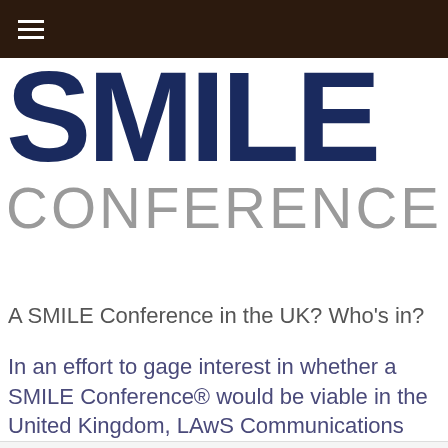SMILE CONFERENCE
A SMILE Conference in the UK? Who's in?
In an effort to gage interest in whether a SMILE Conference® would be viable in the United Kingdom, LAwS Communications would like to get your input in the following survey. It'll only take a couple minutes